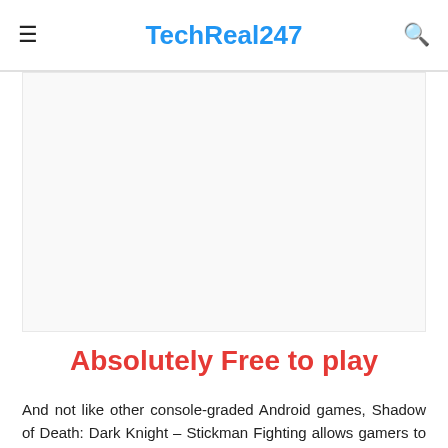≡ TechReal247 🔍
[Figure (other): Advertisement / blank content area below the site header]
Absolutely Free to play
And not like other console-graded Android games, Shadow of Death: Dark Knight – Stickman Fighting allows gamers to experience the whole game without having to pay any free. Still, there are some in-app